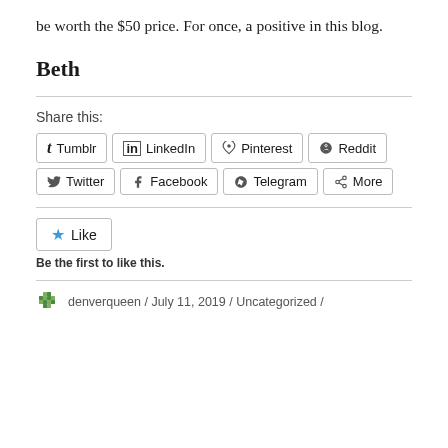be worth the $50 price. For once, a positive in this blog.
Beth
Share this:
Tumblr LinkedIn Pinterest Reddit Twitter Facebook Telegram More
Like
Be the first to like this.
denverqueen / July 11, 2019 / Uncategorized /